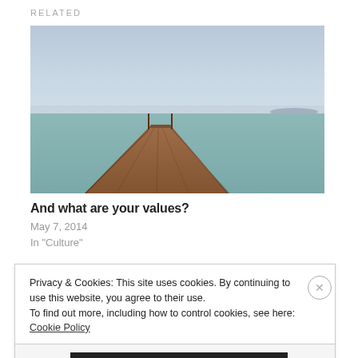RELATED
[Figure (photo): A wooden pier/dock extending out over a calm, turquoise lake or sea, with a hazy blue sky and distant hills on the horizon.]
And what are your values?
May 7, 2014
In "Culture"
Privacy & Cookies: This site uses cookies. By continuing to use this website, you agree to their use.
To find out more, including how to control cookies, see here: Cookie Policy
Close and accept